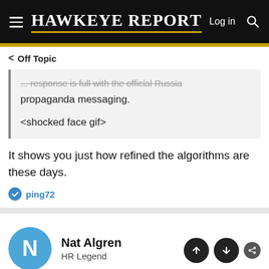HAWKEYE REPORT — Log in
< Off Topic
... response is full with the official Russia propaganda messaging.
<shocked face gif>
It shows you just how refined the algorithms are these days.
ping72
Nat Algren
HR Legend
Jan 14, 2022